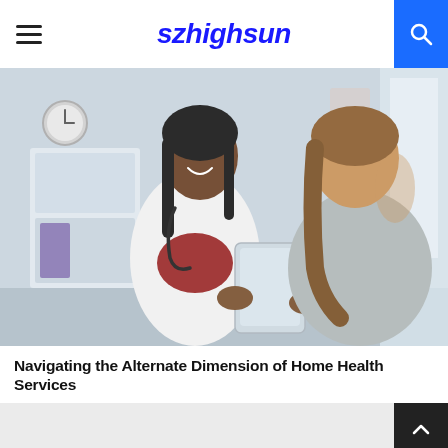szhighsun
[Figure (photo): A smiling female doctor in a white coat with stethoscope holding a tablet, speaking with a female patient in a clinical office setting.]
Navigating the Alternate Dimension of Home Health Services
[Figure (other): Light grey bottom content area with a dark back-to-top chevron button in the top-right corner.]